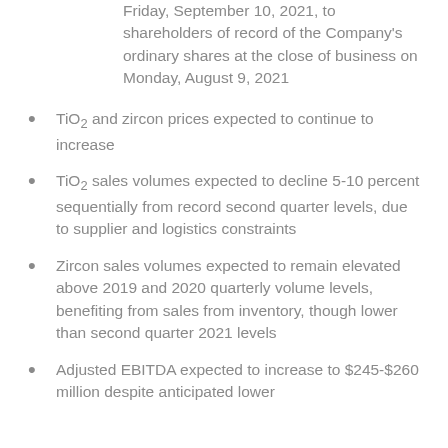Friday, September 10, 2021, to shareholders of record of the Company's ordinary shares at the close of business on Monday, August 9, 2021
TiO2 and zircon prices expected to continue to increase
TiO2 sales volumes expected to decline 5-10 percent sequentially from record second quarter levels, due to supplier and logistics constraints
Zircon sales volumes expected to remain elevated above 2019 and 2020 quarterly volume levels, benefiting from sales from inventory, though lower than second quarter 2021 levels
Adjusted EBITDA expected to increase to $245-$260 million despite anticipated lower